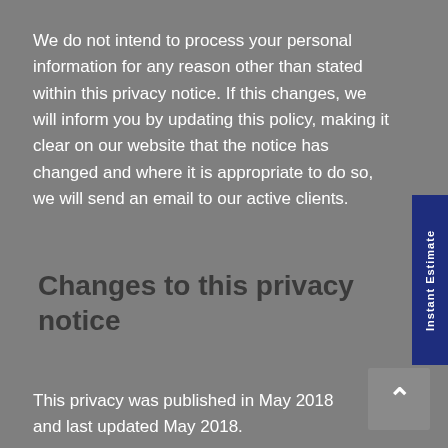We do not intend to process your personal information for any reason other than stated within this privacy notice. If this changes, we will inform you by updating this policy, making it clear on our website that the notice has changed and where it is appropriate to do so, we will send an email to our active clients.
Changes to this privacy notice
This privacy was published in May 2018 and last updated May 2018.